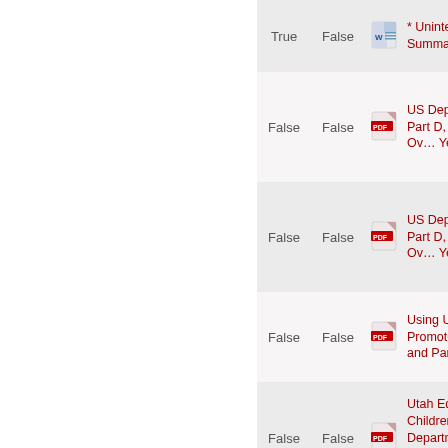|  | True | False |  | Title |
| --- | --- | --- | --- | --- |
|  | True | False | [word-icon] | * Uninterrupted ... Summary (Septe... |
|  | False | False | [pdf-icon] | US Department ... Title, I Part D, Su... Performance Ov... Year 2011-2012 |
|  | False | False | [pdf-icon] | US Department ... Title, I Part D, Su... Performance Ov... Year 2011-2012 |
|  | False | False | [pdf-icon] | Using Unique Ide... Promote Data Sh... Part C and Part B... |
|  | False | False | [pdf-icon] | Utah Educationa... Children in the C... Department of H... and its Divisions... Data Match Rep... |
|  | False | False | [pdf-icon] | Vermont Depart... Children and Fa... Educational Issu... |